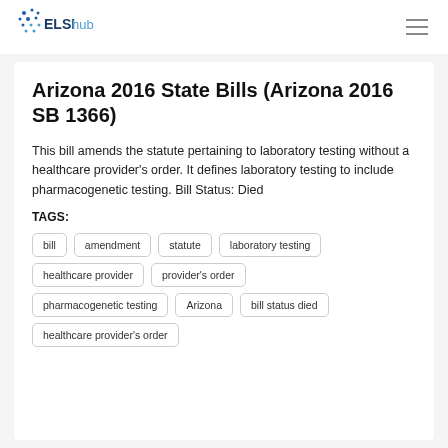ELSI hub
Arizona 2016 State Bills (Arizona 2016 SB 1366)
This bill amends the statute pertaining to laboratory testing without a healthcare provider's order. It defines laboratory testing to include pharmacogenetic testing. Bill Status: Died
TAGS:
bill
amendment
statute
laboratory testing
healthcare provider
provider's order
pharmacogenetic testing
Arizona
bill status died
healthcare provider's order